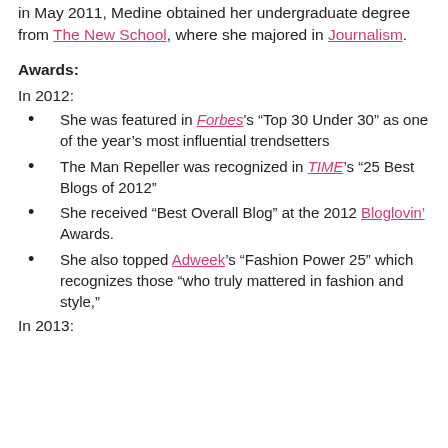in May 2011, Medine obtained her undergraduate degree from The New School, where she majored in Journalism.
Awards:
In 2012:
She was featured in Forbes's “Top 30 Under 30” as one of the year’s most influential trendsetters
The Man Repeller was recognized in TIME’s “25 Best Blogs of 2012”
She received “Best Overall Blog” at the 2012 Bloglovin’ Awards.
She also topped Adweek’s “Fashion Power 25” which recognizes those “who truly mattered in fashion and style,”
In 2013: